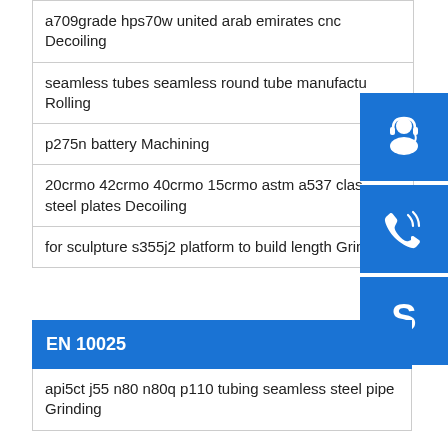a709grade hps70w united arab emirates cnc Decoiling
seamless tubes seamless round tube manufactu... Rolling
p275n battery Machining
20crmo 42crmo 40crmo 15crmo astm a537 class steel plates Decoiling
for sculpture s355j2 platform to build length Grinding
EN 10025
api5ct j55 n80 n80q p110 tubing seamless steel pipe Grinding